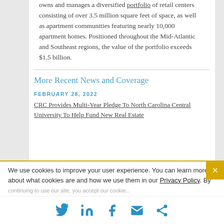owns and manages a diversified portfolio of retail centers consisting of over 3.5 million square feet of space, as well as apartment communities featuring nearly 10,000 apartment homes. Positioned throughout the Mid-Atlantic and Southeast regions, the value of the portfolio exceeds $1.5 billion.
More Recent News and Coverage
FEBRUARY 28, 2022
CRC Provides Multi-Year Pledge To North Carolina Central University To Help Fund New Real Estate
We use cookies to improve your user experience. You can learn more about what cookies are and how we use them in our Privacy Policy. By